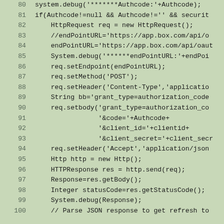[Figure (screenshot): Code listing showing lines 80-100 of a Salesforce Apex class that handles OAuth2 authorization code flow with Box API. Lines include system debug statements, HTTP request setup, setting endpoint URL, method, headers, body with grant_type, code, client_id, and client_secret parameters, sending the request, getting the response body and status code, and a comment about parsing JSON response.]